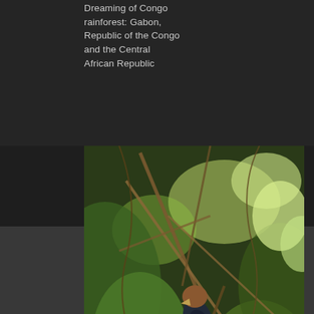Dreaming of Congo rainforest: Gabon, Republic of the Congo and the Central African Republic
[Figure (photo): A bird perched among green tropical leaves and branches in a rainforest setting. The bird has a dark body with white spotted markings on its tail/lower body and a brown/rufous head. Dense green foliage surrounds it with dappled sunlight.]
Common Hedgerow Birds of Costa Rica